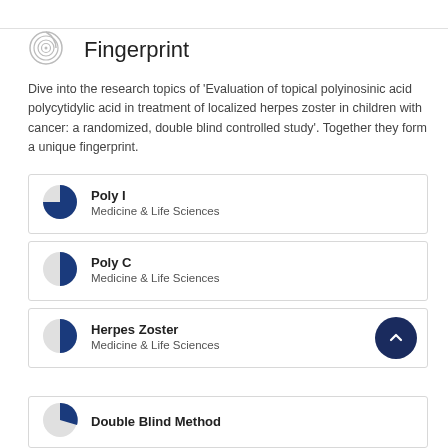Fingerprint
Dive into the research topics of 'Evaluation of topical polyinosinic acid polycytidylic acid in treatment of localized herpes zoster in children with cancer: a randomized, double blind controlled study'. Together they form a unique fingerprint.
Poly I
Medicine & Life Sciences
Poly C
Medicine & Life Sciences
Herpes Zoster
Medicine & Life Sciences
Double Blind Method
Medicine & Life Sciences